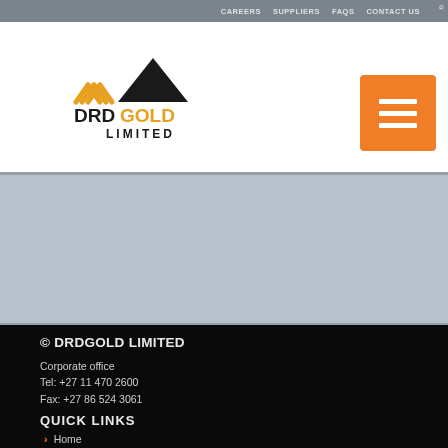CAREERS  SUPPLIERS  FAQS  CONTACT US
[Figure (logo): DRDGOLD LIMITED logo with gold and black mountain/chevron graphic]
[Figure (other): Orange hamburger menu button with three horizontal white bars]
[Figure (photo): Grey banner/placeholder image area]
© DRDGOLD LIMITED
Corporate office
Tel: +27 11 470 2600
Fax: +27 86 524 3061
QUICK LINKS
Home
Disclaimer
Privacy